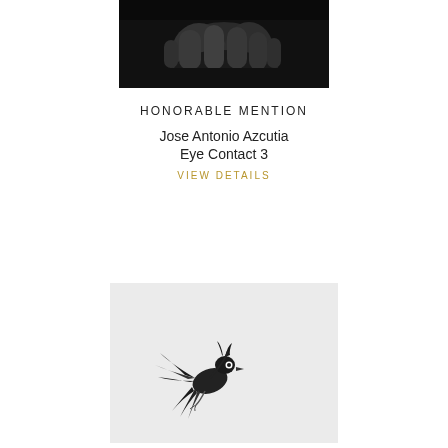[Figure (photo): Black and white close-up photograph of hands, dark background]
HONORABLE MENTION
Jose Antonio Azcutia
Eye Contact 3
VIEW DETAILS
[Figure (photo): Black and white photograph of a small bird in flight against a light grey background]